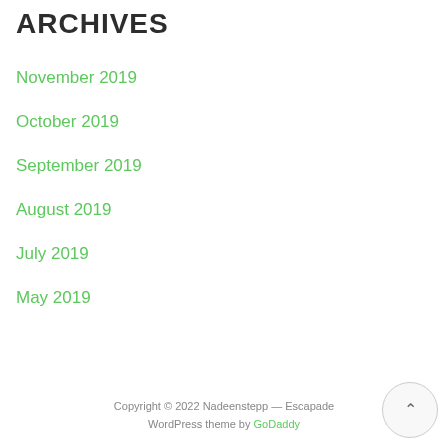ARCHIVES
November 2019
October 2019
September 2019
August 2019
July 2019
May 2019
Copyright © 2022 Nadeenstepp — Escapade WordPress theme by GoDaddy